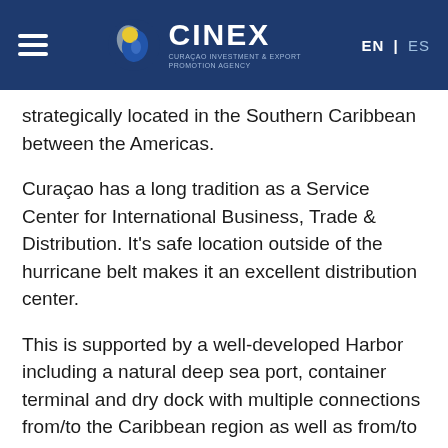CINEX — Curaçao Investment & Export Promotion Agency | EN | ES
strategically located in the Southern Caribbean between the Americas.
Curaçao has a long tradition as a Service Center for International Business, Trade & Distribution. It's safe location outside of the hurricane belt makes it an excellent distribution center.
This is supported by a well-developed Harbor including a natural deep sea port, container terminal and dry dock with multiple connections from/to the Caribbean region as well as from/to South, Central and North America and the European Union.  The Curaçao International Airport also offers daily non-stop flight connections from/to the Caribbean region as well as from/to South and North America and the